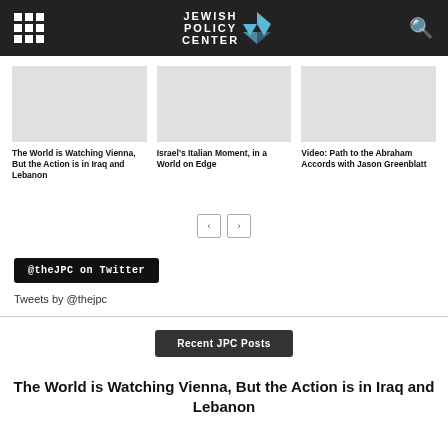Jewish Policy Center
[Figure (screenshot): Article thumbnail image placeholder for 'The World is Watching Vienna, But the Action is in Iraq and Lebanon']
The World is Watching Vienna, But the Action is in Iraq and Lebanon
[Figure (screenshot): Article thumbnail image placeholder for 'Israel's Italian Moment, in a World on Edge']
Israel's Italian Moment, in a World on Edge
[Figure (screenshot): Article thumbnail image placeholder for 'Video: Path to the Abraham Accords with Jason Greenblatt']
Video: Path to the Abraham Accords with Jason Greenblatt
@theJPC on Twitter
Tweets by @thejpc
Recent JPC Posts
The World is Watching Vienna, But the Action is in Iraq and Lebanon